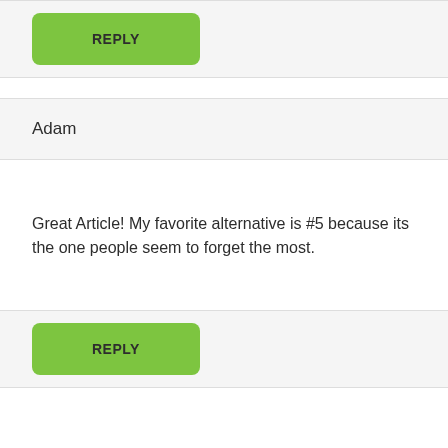[Figure (other): Green REPLY button in a light gray bar]
Adam
Great Article! My favorite alternative is #5 because its the one people seem to forget the most.
[Figure (other): Green REPLY button in a light gray bar]